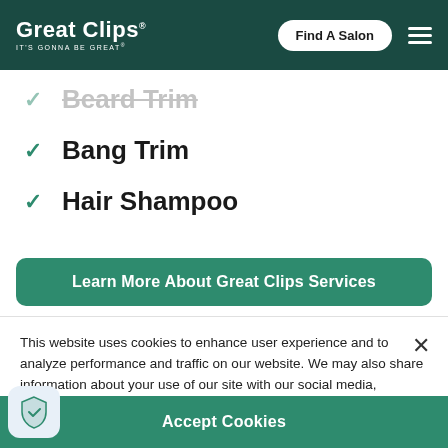Great Clips IT'S GONNA BE GREAT | Find A Salon
Beard Trim (partially visible, struck through)
Bang Trim
Hair Shampoo
Learn More About Great Clips Services
This website uses cookies to enhance user experience and to analyze performance and traffic on our website. We may also share information about your use of our site with our social media, advertising and analytics partners. Privacy Notice
Do Not Sell My Personal Information
Accept Cookies